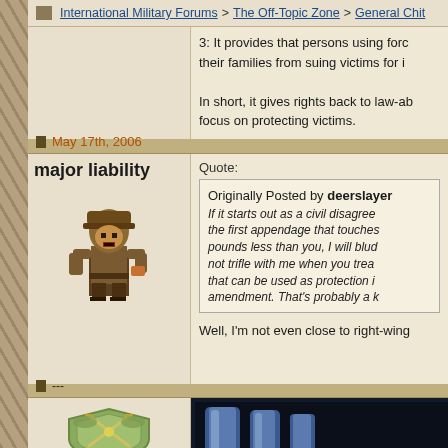International Military Forums > The Off-Topic Zone > General Chit...
3: It provides that persons using force... their families from suing victims for i...

In short, it gives rights back to law-a... focus on protecting victims.
May 17th, 2006
major liability
[Figure (illustration): Pixel art avatar of a medieval/fantasy soldier character in brown armor]
Quote:
Originally Posted by deerslayer...
If it starts out as a civil disagree... the first appendage that touches... pounds less than you, I will blud... not trifle with me when you trea... that can be used as protection i... amendment. That's probably a k...
Well, I'm not even close to right-wing...
---
[Figure (illustration): Military shield/crest emblem with crossed swords]
[Figure (screenshot): Dark banner/advertisement image with blue metallic objects on black background]